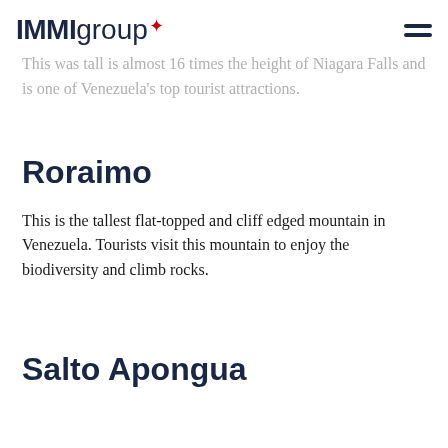IMMIgroup
This was tall is almost 16 times the height of Niagara Falls and is one of Venezuela's top tourist attractions.
Roraimo
This is the tallest flat-topped and cliff edged mountain in Venezuela. Tourists visit this mountain to enjoy the biodiversity and climb rocks.
Salto Apongua